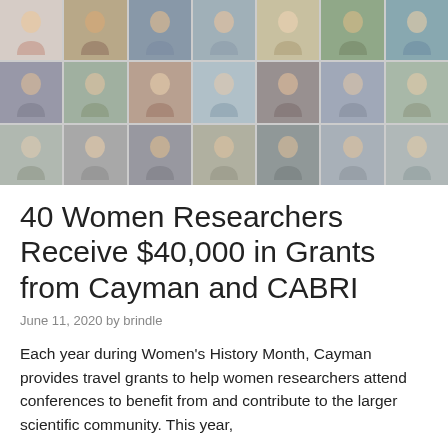[Figure (photo): Collage of 21 headshot photos of women researchers arranged in a 7x3 grid]
40 Women Researchers Receive $40,000 in Grants from Cayman and CABRI
June 11, 2020 by brindle
Each year during Women's History Month, Cayman provides travel grants to help women researchers attend conferences to benefit from and contribute to the larger scientific community. This year,